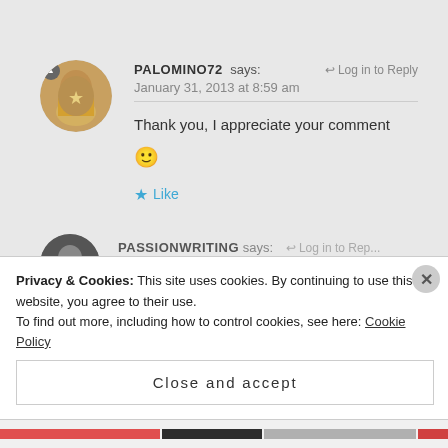PALOMINO72 says:
January 31, 2013 at 8:59 am
Thank you, I appreciate your comment 🙂
Like
PASSIONWRITING says:
Privacy & Cookies: This site uses cookies. By continuing to use this website, you agree to their use. To find out more, including how to control cookies, see here: Cookie Policy
Close and accept